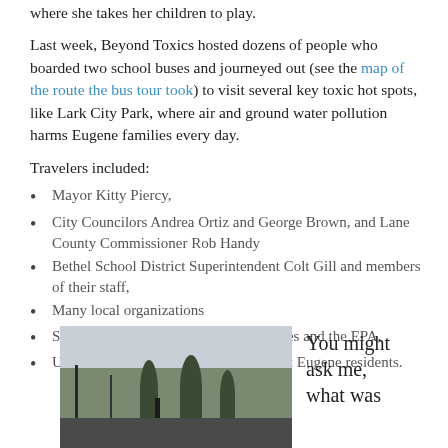where she takes her children to play.
Last week, Beyond Toxics hosted dozens of people who boarded two school buses and journeyed out (see the map of the route the bus tour took) to visit several key toxic hot spots, like Lark City Park, where air and ground water pollution harms Eugene families every day.
Travelers included:
Mayor Kitty Piercy,
City Councilors Andrea Ortiz and George Brown, and Lane County Commissioner Rob Handy
Bethel School District Superintendent Colt Gill and members of their staff,
Many local organizations
Staff from city, county and state agencies and the EPA,
UO students and equal numbers of West Eugene residents.
[Figure (photo): Outdoor winter scene with bare trees and a crowd of people gathered, one person appears to be speaking or presenting]
You might ask me, what was